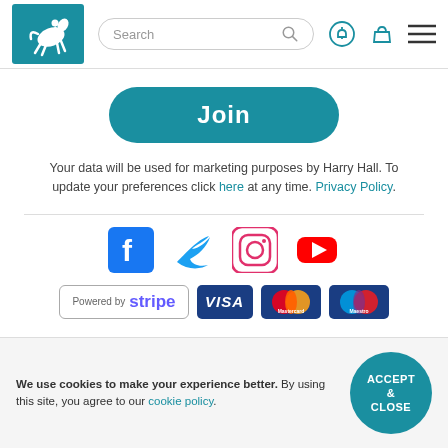[Figure (logo): Harry Hall equestrian logo — white horse and rider jumping on teal background]
[Figure (screenshot): Search bar with magnifying glass icon]
[Figure (screenshot): Header navigation icons: notification bell, shopping basket, hamburger menu]
[Figure (illustration): Teal rounded rectangle Join button]
Your data will be used for marketing purposes by Harry Hall. To update your preferences click here at any time. Privacy Policy.
[Figure (logo): Social media icons row: Facebook, Twitter, Instagram, YouTube]
[Figure (logo): Payment logos: Powered by Stripe, VISA, MasterCard, Maestro]
We use cookies to make your experience better. By using this site, you agree to our cookie policy.
[Figure (illustration): Teal circular ACCEPT & CLOSE button]